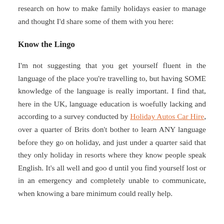research on how to make family holidays easier to manage and thought I'd share some of them with you here:
Know the Lingo
I'm not suggesting that you get yourself fluent in the language of the place you're travelling to, but having SOME knowledge of the language is really important. I find that, here in the UK, language education is woefully lacking and according to a survey conducted by Holiday Autos Car Hire, over a quarter of Brits don't bother to learn ANY language before they go on holiday, and just under a quarter said that they only holiday in resorts where they know people speak English. It's all well and goo d until you find yourself lost or in an emergency and completely unable to communicate, when knowing a bare minimum could really help.